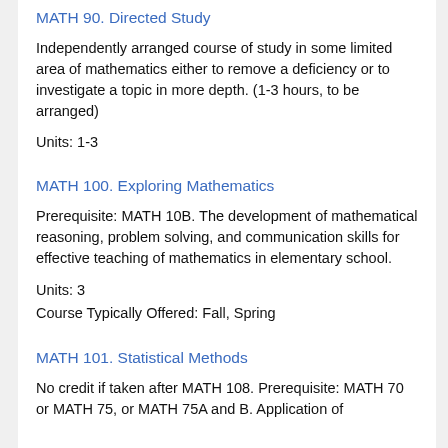MATH 90. Directed Study
Independently arranged course of study in some limited area of mathematics either to remove a deficiency or to investigate a topic in more depth. (1-3 hours, to be arranged)
Units: 1-3
MATH 100. Exploring Mathematics
Prerequisite: MATH 10B. The development of mathematical reasoning, problem solving, and communication skills for effective teaching of mathematics in elementary school.
Units: 3
Course Typically Offered: Fall, Spring
MATH 101. Statistical Methods
No credit if taken after MATH 108. Prerequisite: MATH 70 or MATH 75, or MATH 75A and B. Application of